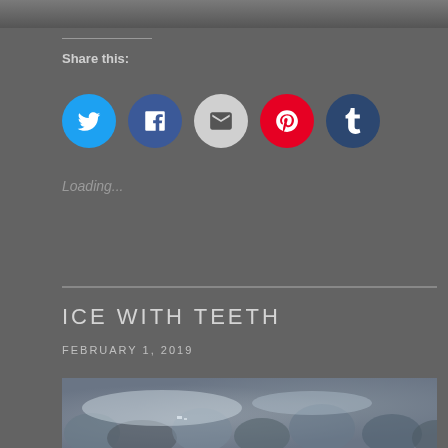[Figure (photo): Top portion of a dark grayscale photo, cropped at top of page]
Share this:
[Figure (infographic): Row of 5 social media share buttons: Twitter (blue), Facebook (dark blue), Email (light gray), Pinterest (red), Tumblr (dark navy)]
Loading...
ICE WITH TEETH
FEBRUARY 1, 2019
[Figure (photo): Black and white aerial or close-up photo of ice with textured bumpy formations]